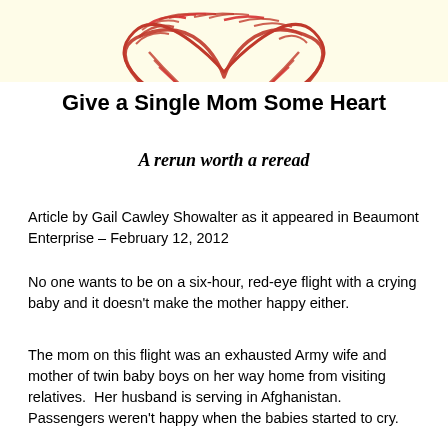[Figure (illustration): Red crayon-drawn heart shape on a light yellow/cream background, partially visible at the top of the page]
Give a Single Mom Some Heart
A rerun worth a reread
Article by Gail Cawley Showalter as it appeared in Beaumont Enterprise – February 12, 2012
No one wants to be on a six-hour, red-eye flight with a crying baby and it doesn't make the mother happy either.
The mom on this flight was an exhausted Army wife and mother of twin baby boys on her way home from visiting relatives.  Her husband is serving in Afghanistan. Passengers weren't happy when the babies started to cry.